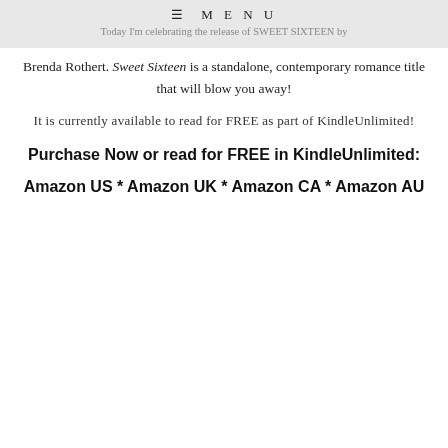≡ MENU
Today I'm celebrating the release of SWEET SIXTEEN by
Brenda Rothert. Sweet Sixteen is a standalone, contemporary romance title that will blow you away!
It is currently available to read for FREE as part of KindleUnlimited!
Purchase Now or read for FREE in KindleUnlimited:
Amazon US * Amazon UK * Amazon CA * Amazon AU